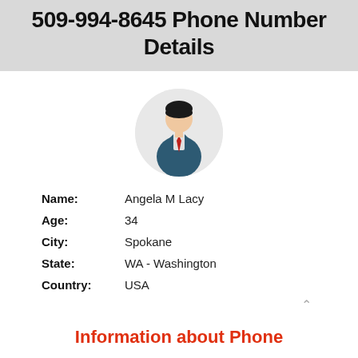509-994-8645 Phone Number Details
[Figure (illustration): Generic male avatar with dark hair, business suit, and red tie inside a light grey circle]
| Name: | Angela M Lacy |
| Age: | 34 |
| City: | Spokane |
| State: | WA - Washington |
| Country: | USA |
Information about Phone